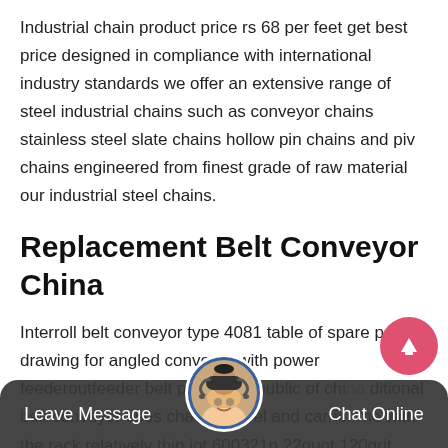Industrial chain product price rs 68 per feet get best price designed in compliance with international industry standards we offer an extensive range of steel industrial chains such as conveyor chains stainless steel slate chains hollow pin chains and piv chains engineered from finest grade of raw material our industrial steel chains.
Replacement Belt Conveyor China
Interroll belt conveyor type 4081 table of spare parts drawing for angled conveyor with power feederoutfeeder belt peoples republic of chinaditional belt conveyor uses channel steel and carrier me with the rack relatively thin jot 600321p 22quot 120grit replacement
Leave Message   Chat Online